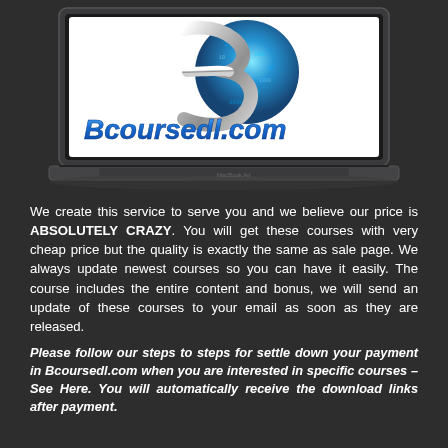[Figure (logo): A MacBook laptop displaying the Bcoursedl.com logo — a silver metallic '3' swirl over a blue digital globe with binary numbers, and the text 'Bcoursedl.com' in blue metallic italic font below it.]
We create this service to serve you and we believe our price is ABSOLUTELY CRAZY. You will get these courses with very cheap price but the quality is exactly the same as sale page. We always update newest courses so you can have it easily. The course includes the entire content and bonus, we will send an update of these courses to your email as soon as they are released.
Please follow our steps to steps for settle down your payment in Bcoursedl.com when you are interested in specific courses – See Here. You will automatically receive the download links after payment.